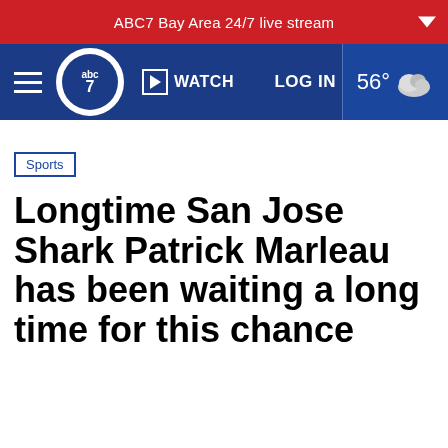ABC7 Bay Area 24/7 live stream
[Figure (screenshot): ABC7 news website navigation bar with logo, WATCH button, LOG IN link, and 56° weather indicator]
Sports
Longtime San Jose Shark Patrick Marleau has been waiting a long time for this chance